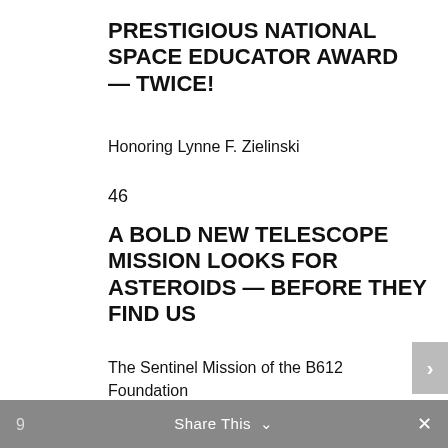PRESTIGIOUS NATIONAL SPACE EDUCATOR AWARD — TWICE!
Honoring Lynne F. Zielinski
46
A BOLD NEW TELESCOPE MISSION LOOKS FOR ASTEROIDS — BEFORE THEY FIND US
The Sentinel Mission of the B612 Foundation
By Ed Lu
Departments:
Share This  ×